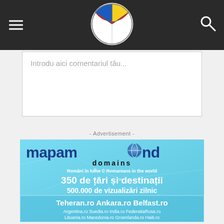Navigation header with hamburger menu, logo, and search icon
Introdu aici comentariul tău...
- Advertisement -
[Figure (illustration): Mapamond Domains advertisement banner showing logo, tagline 'Români în lume © Romanians in the world', '350 de țări și destinații', '500.000 de vizualizări zilnic', and city domains: Teheran.ro, Ankara.ro, Belfast.ro, Argentina.ro, Suedia.ro, India.ro, FederatiaRusa.ro, Lituania.ro, Macedonia.ro, Groenlanda.ro, Haiti.ro]